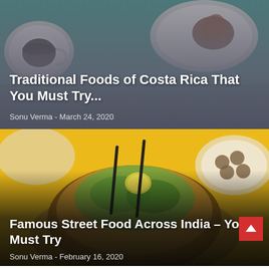[Figure (photo): Photo of coffee cup and food on a teal tablecloth, viewed from above]
Traditional Foods of Costa Rica That You Must Try...
Sonu Verma  -  March 24, 2020
[Figure (photo): Close-up photo of Indian street food bhel puri with garnish on a yellow background]
Famous Street Food Across India – You Must Try
Sonu Verma  -  February 16, 2020
[Figure (photo): Partial view of colorful food dishes at the bottom of the page]